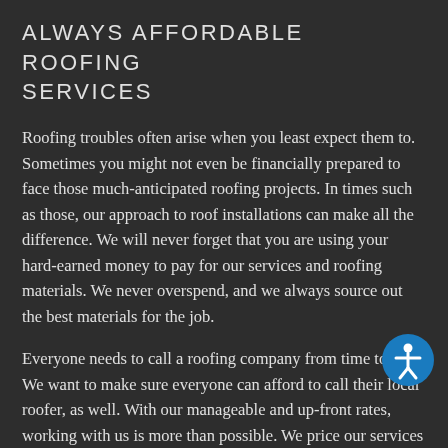ALWAYS AFFORDABLE ROOFING SERVICES
Roofing troubles often arise when you least expect them to. Sometimes you might not even be financially prepared to face those much-anticipated roofing projects. In times such as those, our approach to roof installations can make all the difference. We will never forget that you are using your hard-earned money to pay for our services and roofing materials. We never overspend, and we always source out the best materials for the job.
Everyone needs to call a roofing company from time to time. We want to make sure everyone can afford to call their local roofer, as well. With our manageable and up-front rates, working with us is more than possible. We price our services with the average homeowner in mind.
Offering the finest in roof repairs, installations, and more, we are the team for you. Would you like to learn more about our premium roofing services? If so, contact us at